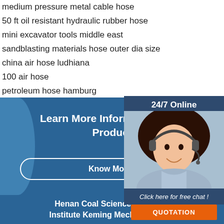medium pressure metal cable hose
50 ft oil resistant hydraulic rubber hose
mini excavator tools middle east
sandblasting materials hose outer dia size
china air hose ludhiana
100 air hose
petroleum hose hamburg
indonesia cement mixer wala game sale
6 8 inch truck air brake coil hose
cement mixer 8 cubic ft jordan
[Figure (illustration): Customer service representative with headset, 24/7 Online chat widget with QUOTATION button]
Learn More Information About Products
Know More
[Figure (logo): TOP logo with decorative dots]
Henan Coal Science Research Institute Keming Mechanical And